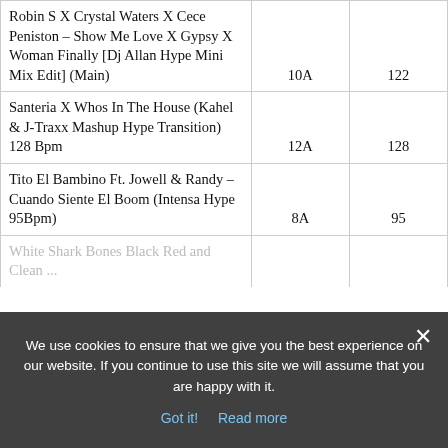| Title | Key | BPM |
| --- | --- | --- |
| Robin S X Crystal Waters X Cece Peniston – Show Me Love X Gypsy X Woman Finally [Dj Allan Hype Mini Mix Edit] (Main) | 10A | 122 |
| Santeria X Whos In The House (Kahel & J-Traxx Mashup Hype Transition) 128 Bpm | 12A | 128 |
| Tito El Bambino Ft. Jowell & Randy – Cuando Siente El Boom (Intensa Hype 95Bpm) | 8A | 95 |
| White Shark Bones Black Red and Clean ... |  |  |
We use cookies to ensure that we give you the best experience on our website. If you continue to use this site we will assume that you are happy with it.
Got it!   Read more